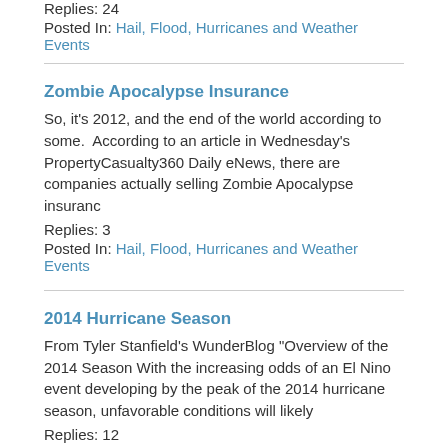Replies: 24
Posted In: Hail, Flood, Hurricanes and Weather Events
Zombie Apocalypse Insurance
So, it's 2012, and the end of the world according to some.  According to an article in Wednesday's PropertyCasualty360 Daily eNews, there are companies actually selling Zombie Apocalypse insuranc
Replies: 3
Posted In: Hail, Flood, Hurricanes and Weather Events
2014 Hurricane Season
From Tyler Stanfield's WunderBlog "Overview of the 2014 Season With the increasing odds of an El Nino event developing by the peak of the 2014 hurricane season, unfavorable conditions will likely
Replies: 12
Posted In: Hail, Flood, Hurricanes and Weather Events
6/13/2012 Monster DFW hail storm
Why has it not been mentioned on here? 2nd largest hail storm in Texas history. The largest was in Fort Worth in 1995. Anybody working